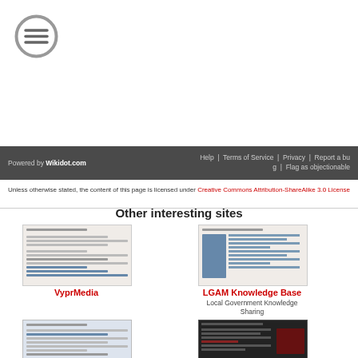[Figure (illustration): Hamburger menu icon — circle with three horizontal lines]
Powered by Wikidot.com | Help | Terms of Service | Privacy | Report a bug | Flag as objectionable
Unless otherwise stated, the content of this page is licensed under Creative Commons Attribution-ShareAlike 3.0 License
Other interesting sites
[Figure (screenshot): Screenshot thumbnail of VyprMedia website]
[Figure (screenshot): Screenshot thumbnail of LGAM Knowledge Base website]
VyprMedia
LGAM Knowledge Base
Local Government Knowledge Sharing
[Figure (screenshot): Screenshot thumbnail of a government/form website]
[Figure (screenshot): Screenshot thumbnail of a dark-themed website with red imagery]